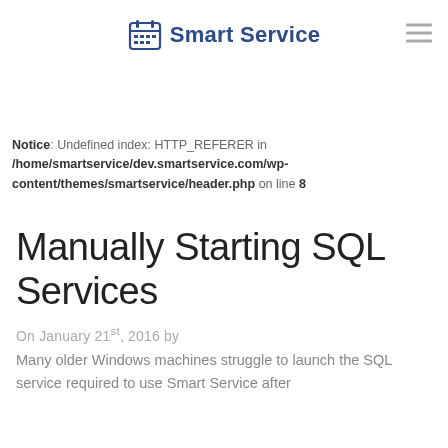Smart Service
Notice: Undefined index: HTTP_REFERER in /home/smartservice/dev.smartservice.com/wp-content/themes/smartservice/header.php on line 8
Manually Starting SQL Services
On January 21st, 2016 by
Many older Windows machines struggle to launch the SQL service required to use Smart Service after